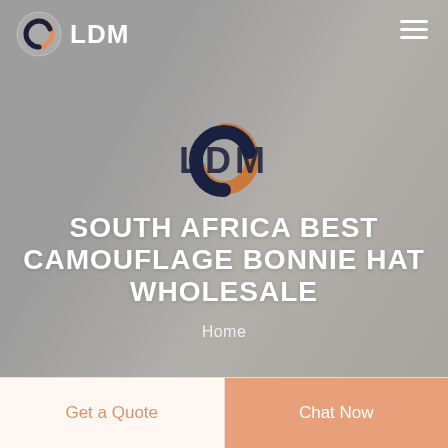[Figure (screenshot): Website hero section screenshot showing LDM logo and navigation bar at top with hamburger menu, centered spiral logo graphic, heading text 'SOUTH AFRICA BEST CAMOUFLAGE BONNIE HAT WHOLESALE', breadcrumb 'Home', and two CTA buttons at bottom: 'Get a Quote' and 'Chat Now']
SOUTH AFRICA BEST CAMOUFLAGE BONNIE HAT WHOLESALE
Home